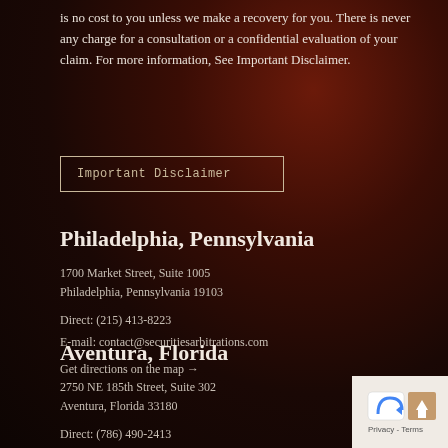is no cost to you unless we make a recovery for you. There is never any charge for a consultation or a confidential evaluation of your claim. For more information, See Important Disclaimer.
Important Disclaimer
Philadelphia, Pennsylvania
1700 Market Street, Suite 1005
Philadelphia, Pennsylvania 19103
Direct: (215) 413-8223
E-mail: contact@securitiesarbitrations.com
Get directions on the map →
Aventura, Florida
2750 NE 185th Street, Suite 302
Aventura, Florida 33180
Direct: (786) 490-2413
[Figure (other): Google Maps privacy badge with blue arrow icon and Privacy - Terms text]